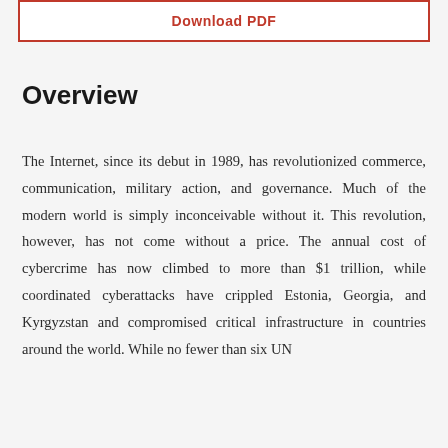[Figure (other): Download PDF button — a rectangular button with red border and red text reading 'Download PDF']
Overview
The Internet, since its debut in 1989, has revolutionized commerce, communication, military action, and governance. Much of the modern world is simply inconceivable without it. This revolution, however, has not come without a price. The annual cost of cybercrime has now climbed to more than $1 trillion, while coordinated cyberattacks have crippled Estonia, Georgia, and Kyrgyzstan and compromised critical infrastructure in countries around the world. While no fewer than six UN